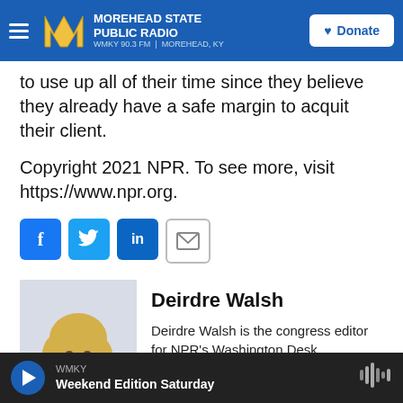MOREHEAD STATE PUBLIC RADIO WMKY 90.3 FM | MOREHEAD, KY
to use up all of their time since they believe they already have a safe margin to acquit their client.
Copyright 2021 NPR. To see more, visit https://www.npr.org.
[Figure (infographic): Social sharing icons: Facebook (f), Twitter, LinkedIn (in), Email envelope]
[Figure (photo): Headshot photo of Deirdre Walsh, a woman with blonde hair wearing a dark blazer and gold necklace]
Deirdre Walsh
Deirdre Walsh is the congress editor for NPR's Washington Desk.
See stories by Deirdre Walsh
WMKY Weekend Edition Saturday